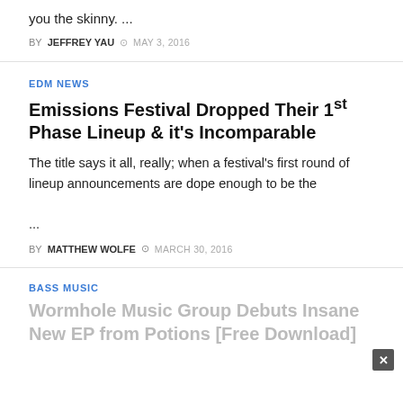you the skinny. ...
BY JEFFREY YAU  ⊙ MAY 3, 2016
EDM NEWS
Emissions Festival Dropped Their 1st Phase Lineup & it's Incomparable
The title says it all, really; when a festival's first round of lineup announcements are dope enough to be the ...
BY MATTHEW WOLFE  ⊙ MARCH 30, 2016
BASS MUSIC
Wormhole Music Group Debuts Insane New EP from Potions [Free Download]